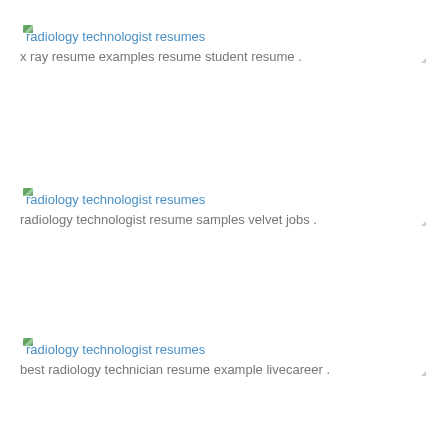[Figure (illustration): Broken image icon for radiology technologist resumes]
radiology technologist resumes
x ray resume examples resume student resume .
[Figure (illustration): Broken image icon for radiology technologist resumes]
radiology technologist resumes
radiology technologist resume samples velvet jobs .
[Figure (illustration): Broken image icon for radiology technologist resumes]
radiology technologist resumes
best radiology technician resume example livecareer .